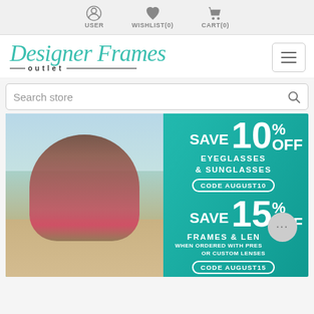USER  WISHLIST(0)  CART(0)
[Figure (logo): Designer Frames Outlet logo in teal italic script with 'outlet' in small caps below, and a hamburger menu icon on the right]
Search store
[Figure (infographic): Promotional banner with beach background showing a woman in sunglasses lying on the beach. Teal background on right side with text: SAVE 10% OFF EYEGLASSES & SUNGLASSES CODE AUGUST10 and SAVE 15% OFF FRAMES & LENSES WHEN ORDERED WITH PRESCRIPTION OR CUSTOM LENSES CODE AUGUST15]